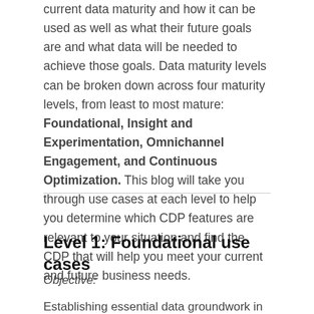current data maturity and how it can be used as well as what their future goals are and what data will be needed to achieve those goals. Data maturity levels can be broken down across four maturity levels, from least to most mature: Foundational, Insight and Experimentation, Omnichannel Engagement, and Continuous Optimization. This blog will take you through use cases at each level to help you determine which CDP features are relevant to your situation and find the CDP that will help you meet your current and future business needs.
Level 1: Foundational use cases
Objective:
Establishing essential data groundwork in